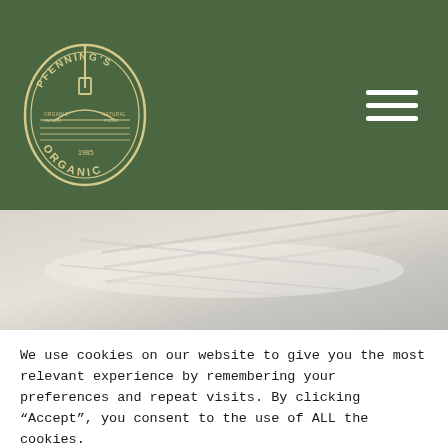[Figure (logo): Pfenning's Organic circular logo with shovel, farm scene, and text on dark green header background]
[Figure (photo): Close-up photo of light-colored vegetable (likely parsnip or white root vegetable) on a light grey/white background]
We use cookies on our website to give you the most relevant experience by remembering your preferences and repeat visits. By clicking “Accept”, you consent to the use of ALL the cookies.
Do not sell my personal information.
Cookie Settings
Accept